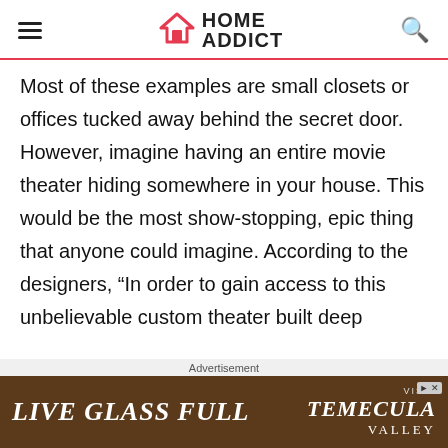HOME ADDICT
Most of these examples are small closets or offices tucked away behind the secret door. However, imagine having an entire movie theater hiding somewhere in your house. This would be the most show-stopping, epic thing that anyone could imagine. According to the designers, “In order to gain access to this unbelievable custom theater built deep
Advertisement
[Figure (other): Advertisement banner for Live Glass Full / Visit Temecula Valley]